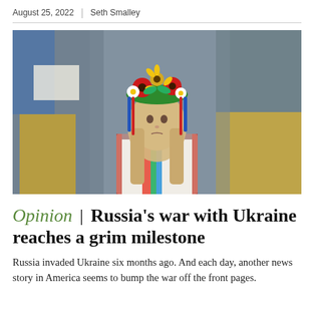August 25, 2022 | Seth Smalley
[Figure (photo): A young girl wearing a traditional Ukrainian embroidered dress (vyshyvanka) and a colorful flower crown with red poppies, sunflowers, and other flowers. She has long blonde hair with ribbons. In the blurred background, people hold Ukrainian blue-and-yellow flags and signs.]
Opinion | Russia's war with Ukraine reaches a grim milestone
Russia invaded Ukraine six months ago. And each day, another news story in America seems to bump the war off the front pages.